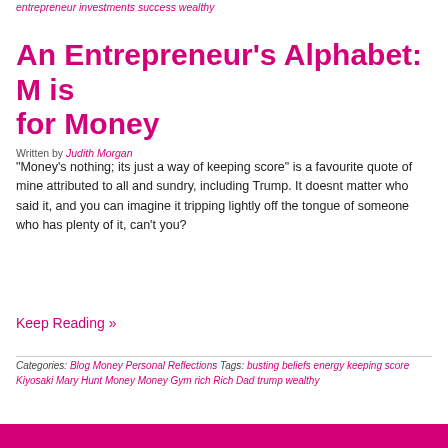entrepreneur investments success wealthy
An Entrepreneur's Alphabet: M is for Money
Written by Judith Morgan
"Money's nothing; its just a way of keeping score" is a favourite quote of mine attributed to all and sundry, including Trump. It doesnt matter who said it, and you can imagine it tripping lightly off the tongue of someone who has plenty of it, can't you?
Keep Reading »
Categories: Blog Money Personal Reflections Tags: busting beliefs energy keeping score Kiyosaki Mary Hunt Money Money Gym rich Rich Dad trump wealthy